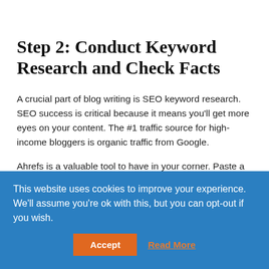Step 2: Conduct Keyword Research and Check Facts
A crucial part of blog writing is SEO keyword research. SEO success is critical because it means you'll get more eyes on your content. The #1 traffic source for high-income bloggers is organic traffic from Google.
Ahrefs is a valuable tool to have in your corner. Paste a topic or keyword into Ahrefs' Keywords Explorer, and you'll get a SERP
This website uses cookies to improve your experience. We'll assume you're ok with this, but you can opt-out if you wish.
Accept
Read More